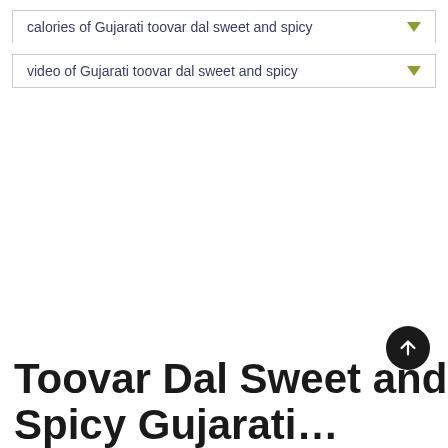calories of Gujarati toovar dal sweet and spicy
video of Gujarati toovar dal sweet and spicy
Toovar Dal Sweet and Spicy Gujarati…